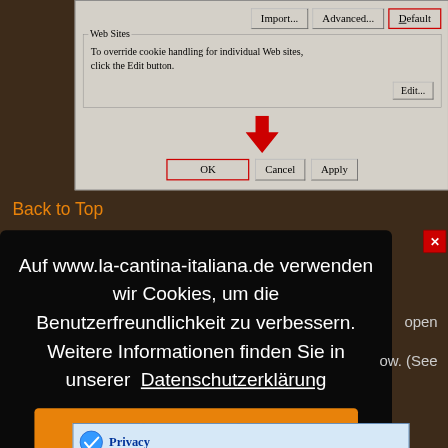[Figure (screenshot): Windows Internet Explorer Privacy settings dialog box screenshot. Shows top buttons: Import..., Advanced..., Default (highlighted with red border). Web Sites group box with text 'To override cookie handling for individual Web sites, click the Edit button.' and Edit... button. Red downward arrow pointing to OK button. Bottom row: OK (red border highlight), Cancel, Apply buttons.]
Back to Top
[Figure (screenshot): Cookie consent overlay popup on dark background. German text: 'Auf www.la-cantina-italiana.de verwenden wir Cookies, um die Benutzerfreundlichkeit zu verbessern. Weitere Informationen finden Sie in unserer Datenschutzerklärung' with Datenschutzerklärung underlined. Orange 'Einverstanden' button. Partial text visible on right side: 'open' and 'ow. (See'. Blue X close button top right. Privacy bar at bottom with checkmark and 'Privacy' text.]